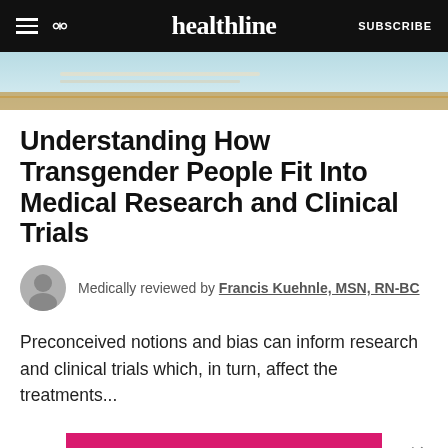healthline  SUBSCRIBE
[Figure (photo): Partial hero image showing books and wooden surface, cropped at top]
Understanding How Transgender People Fit Into Medical Research and Clinical Trials
Medically reviewed by Francis Kuehnle, MSN, RN-BC
Preconceived notions and bias can inform research and clinical trials which, in turn, affect the treatments...
READ MORE
ADVERTISEMENT